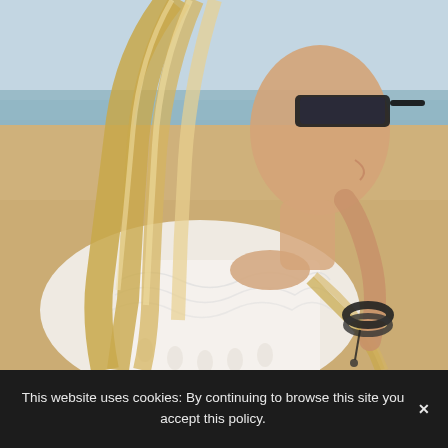[Figure (photo): A smiling blonde woman with long highlighted hair wearing dark sunglasses and a white off-shoulder crochet/lace top with tassel details, standing on a beach. She is holding a strand of her hair and wearing a black beaded bracelet. Sandy beach and ocean/sky visible in background.]
This website uses cookies: By continuing to browse this site you accept this policy. ×